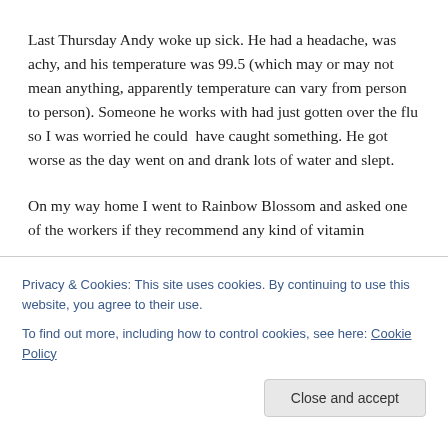Last Thursday Andy woke up sick. He had a headache, was achy, and his temperature was 99.5 (which may or may not mean anything, apparently temperature can vary from person to person). Someone he works with had just gotten over the flu so I was worried he could have caught something. He got worse as the day went on and drank lots of water and slept.
On my way home I went to Rainbow Blossom and asked one of the workers if they recommend any kind of vitamin C/cold/flu medicine. The lady told me I had to get this. I came home and loosely used this recipe to make...
Privacy & Cookies: This site uses cookies. By continuing to use this website, you agree to their use.
To find out more, including how to control cookies, see here: Cookie Policy